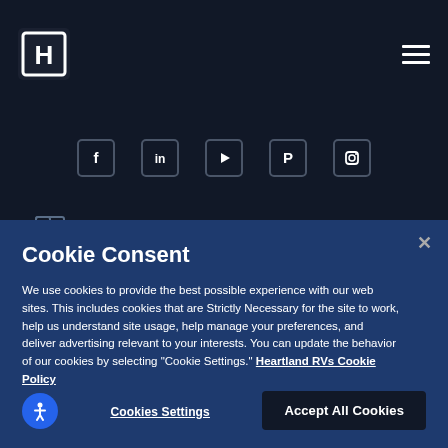Heartland RV website navigation bar with logo and hamburger menu
[Figure (illustration): Social media icons row: Facebook, LinkedIn, YouTube, Pinterest, Instagram in rounded square borders on dark background]
[Figure (illustration): Two icon symbols: Heartland RV brochure icon and tools/wrench icon on dark background]
Cookie Consent
We use cookies to provide the best possible experience with our web sites. This includes cookies that are Strictly Necessary for the site to work, help us understand site usage, help manage your preferences, and deliver advertising relevant to your interests. You can update the behavior of our cookies by selecting "Cookie Settings." Heartland RVs Cookie Policy
Cookies Settings
Accept All Cookies